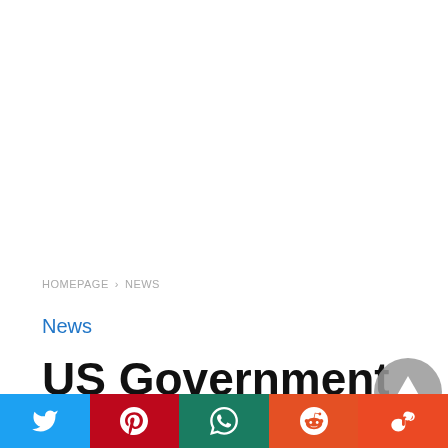HOMEPAGE › NEWS
News
US Government Sector
[Figure (other): Social media share buttons bar at bottom: Twitter (blue), Pinterest (dark red), WhatsApp (teal), Reddit (orange), StumbleUpon (red-orange)]